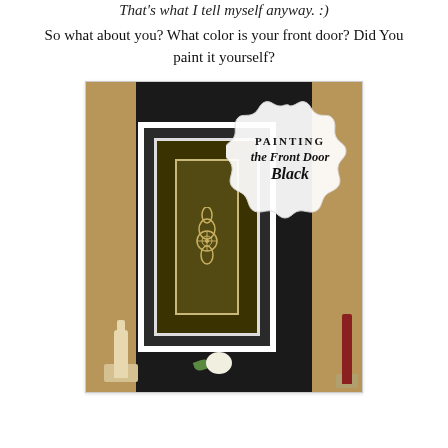That's what I tell myself anyway. :)
So what about you? What color is your front door? Did You paint it yourself?
[Figure (photo): Photo of a black painted front door with white frame, decorative glass panel with ornamental design, candlesticks on either side, and a white gourd at the bottom. A white scalloped badge overlaid reads 'PAINTING the Front Door Black'.]